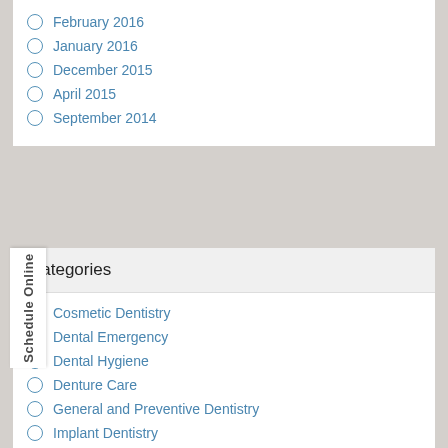February 2016
January 2016
December 2015
April 2015
September 2014
Categories
Cosmetic Dentistry
Dental Emergency
Dental Hygiene
Denture Care
General and Preventive Dentistry
Implant Dentistry
Jaw Pain & TMJ
Oral Cancer
Oral Health
Overall Health
Restorative Dental Care
Sedation Dentistry
Uncategorized